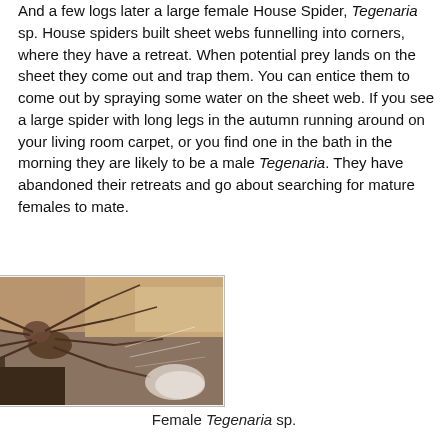And a few logs later a large female House Spider, Tegenaria sp. House spiders built sheet webs funnelling into corners, where they have a retreat. When potential prey lands on the sheet they come out and trap them. You can entice them to come out by spraying some water on the sheet web. If you see a large spider with long legs in the autumn running around on your living room carpet, or you find one in the bath in the morning they are likely to be a male Tegenaria. They have abandoned their retreats and go about searching for mature females to mate.
[Figure (photo): Photograph of a female Tegenaria house spider on a stone/concrete surface with visible webbing]
Female Tegenaria sp.